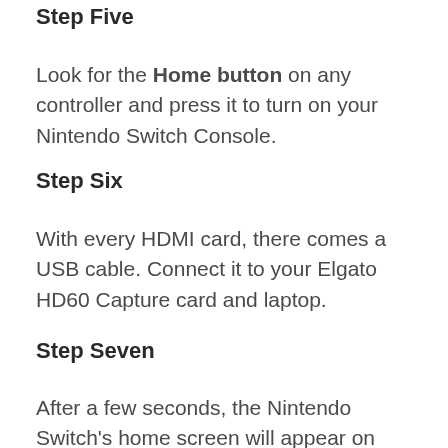Step Five
Look for the Home button on any controller and press it to turn on your Nintendo Switch Console.
Step Six
With every HDMI card, there comes a USB cable. Connect it to your Elgato HD60 Capture card and laptop.
Step Seven
After a few seconds, the Nintendo Switch's home screen will appear on your Game Capture. Note: If